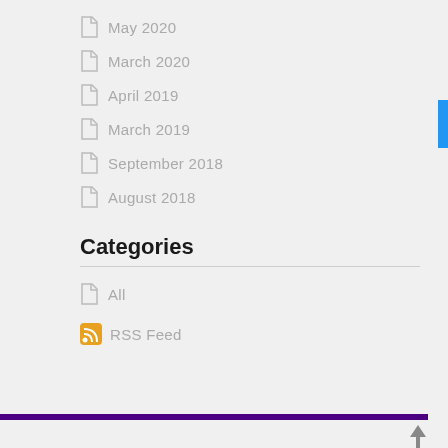May 2020
March 2020
April 2019
March 2019
September 2018
August 2018
Categories
All
RSS Feed